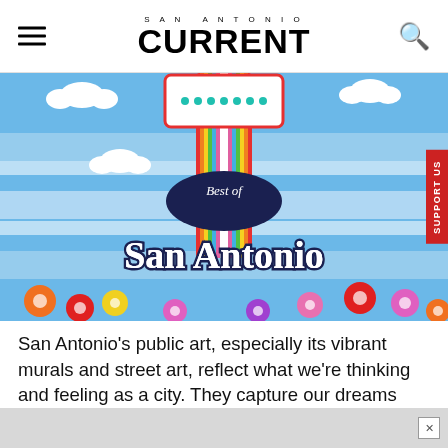SAN ANTONIO CURRENT
[Figure (photo): Colorful 'Best of San Antonio' mural painted on a wall. Features vibrant rainbow stripes, illustrated clouds, colorful flowers, and bold script lettering reading 'Best of San Antonio' against a blue painted wall background.]
San Antonio's public art, especially its vibrant murals and street art, reflect what we're thinking and feeling as a city. They capture our dreams